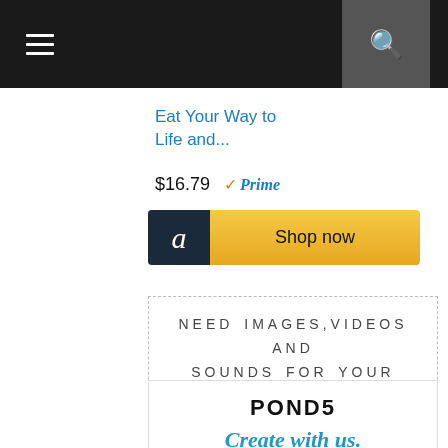Eat Your Way to Life and...
$16.79  ✓Prime
[Figure (logo): Amazon Shop now button with dark Amazon logo box and gold Shop now area]
NEED IMAGES,VIDEOS AND SOUNDS FOR YOUR CAMPAIGN?
[Figure (logo): Pond5 advertisement box with logo, Create with us. tagline, and Explore the world's largest collection of royalty-free text]